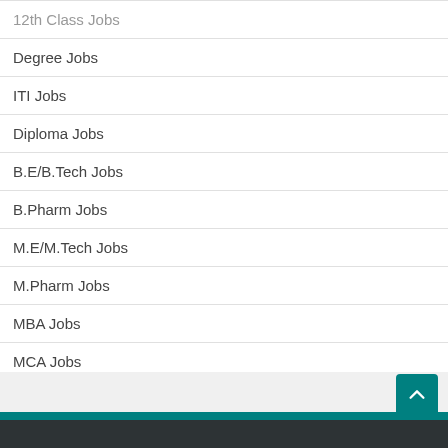12th Class Jobs
Degree Jobs
ITI Jobs
Diploma Jobs
B.E/B.Tech Jobs
B.Pharm Jobs
M.E/M.Tech Jobs
M.Pharm Jobs
MBA Jobs
MCA Jobs
MBBS/MD Jobs
Ph.D Jobs